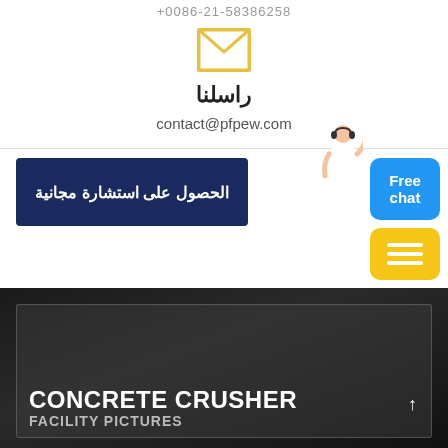+0086-21-58386258
[Figure (illustration): Yellow outline envelope/email icon]
راسلنا
contact@pfpew.com
الحصول على استشارة مجانية
[Figure (illustration): Person with headset illustration (customer service rep)]
Free chat
[Figure (illustration): Yellow button with three horizontal white lines (hamburger menu icon)]
[Figure (photo): Dark industrial background photo with concrete crusher machinery]
CONCRETE CRUSHER